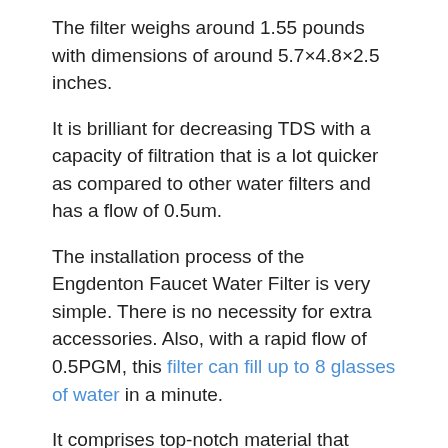The filter weighs around 1.55 pounds with dimensions of around 5.7×4.8×2.5 inches.
It is brilliant for decreasing TDS with a capacity of filtration that is a lot quicker as compared to other water filters and has a flow of 0.5um.
The installation process of the Engdenton Faucet Water Filter is very simple. There is no necessity for extra accessories. Also, with a rapid flow of 0.5PGM, this filter can fill up to 8 glasses of water in a minute.
It comprises top-notch material that allows it to stay away from sediment, chlorine, and the smell that comes from your tap water.
There is a 99% success in filtering out the pollutants, and there are no leakage issues in this filter.